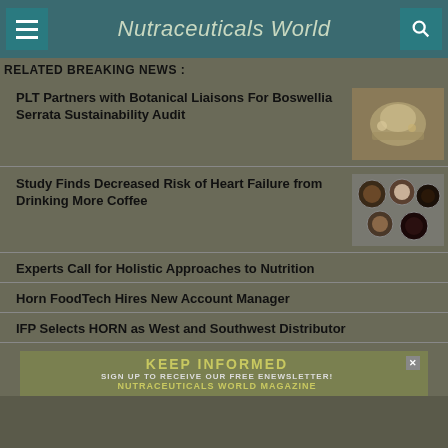Nutraceuticals World
RELATED BREAKING NEWS :
PLT Partners with Botanical Liaisons For Boswellia Serrata Sustainability Audit
[Figure (photo): Bowl with herbs and spices]
Study Finds Decreased Risk of Heart Failure from Drinking More Coffee
[Figure (photo): Various cups of coffee viewed from above]
Experts Call for Holistic Approaches to Nutrition
Horn FoodTech Hires New Account Manager
IFP Selects HORN as West and Southwest Distributor
KEEP INFORMED
SIGN UP TO RECEIVE OUR FREE ENEWSLETTER!
NUTRACEUTICALS WORLD MAGAZINE